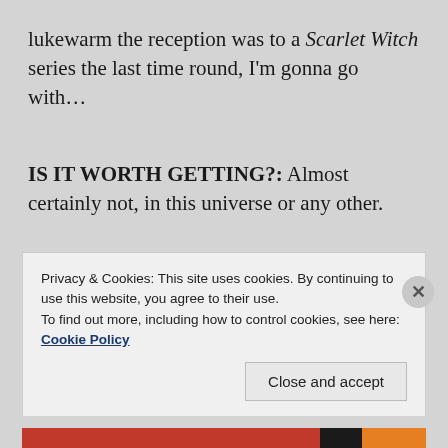lukewarm the reception was to a Scarlet Witch series the last time round, I'm gonna go with…
IS IT WORTH GETTING?: Almost certainly not, in this universe or any other.
SILK
Privacy & Cookies: This site uses cookies. By continuing to use this website, you agree to their use.
To find out more, including how to control cookies, see here: Cookie Policy
Close and accept